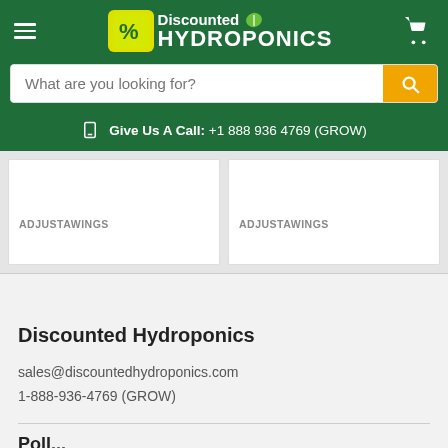[Figure (logo): Discounted Hydroponics logo with hamburger menu and cart icon on green header background]
What are you looking for?
Give Us A Call: +1 888 936 4769 (GROW)
ADJUSTAWINGS
ADJUSTAWINGS
Discounted Hydroponics
sales@discountedhydroponics.com
1-888-936-4769 (GROW)
Poli...